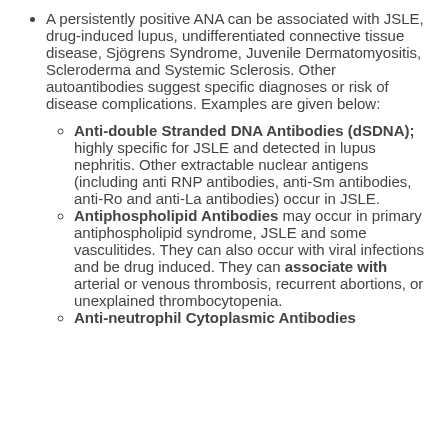A persistently positive ANA can be associated with JSLE, drug-induced lupus, undifferentiated connective tissue disease, Sjögrens Syndrome, Juvenile Dermatomyositis, Scleroderma and Systemic Sclerosis. Other autoantibodies suggest specific diagnoses or risk of disease complications. Examples are given below:
Anti-double Stranded DNA Antibodies (dSDNA); highly specific for JSLE and detected in lupus nephritis. Other extractable nuclear antigens (including anti RNP antibodies, anti-Sm antibodies, anti-Ro and anti-La antibodies) occur in JSLE.
Antiphospholipid Antibodies may occur in primary antiphospholipid syndrome, JSLE and some vasculitides. They can also occur with viral infections and be drug induced. They can associate with arterial or venous thrombosis, recurrent abortions, or unexplained thrombocytopenia.
Anti-neutrophil Cytoplasmic Antibodies